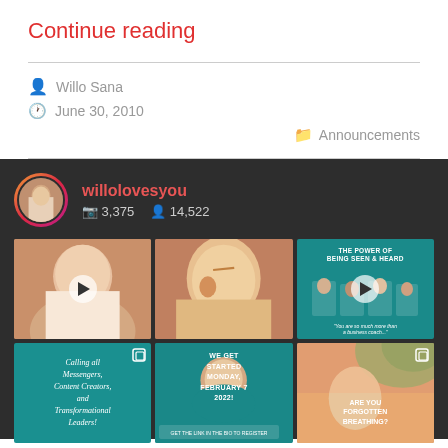Continue reading
Willo Sana
June 30, 2010
Announcements
[Figure (screenshot): Instagram widget showing willolovesyou profile with 3,375 posts and 14,522 followers, plus a 2x3 grid of Instagram post thumbnails including photos and teal-colored graphic posts]